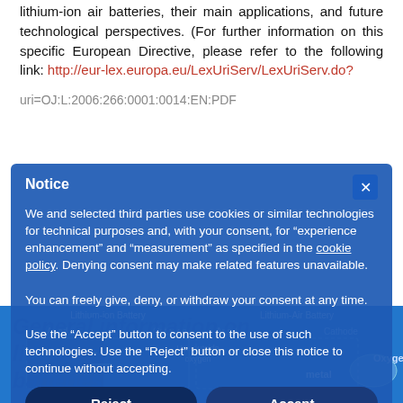lithium-ion air batteries, their main applications, and future technological perspectives. (For further information on this specific European Directive, please refer to the following link: http://eur-lex.europa.eu/LexUriServ/LexUriServ.do?uri=OJ:L:2006:266:0001:0014:EN:PDF
[Figure (illustration): Comparison diagram of Lithium-ion Battery vs Lithium-Air Battery showing anode, cathode components, lithium-ion and lithium-oxide labels, with oxygen element shown for the air battery]
Notice
We and selected third parties use cookies or similar technologies for technical purposes and, with your consent, for "experience enhancement" and "measurement" as specified in the cookie policy. Denying consent may make related features unavailable.
You can freely give, deny, or withdraw your consent at any time.
Use the "Accept" button to consent to the use of such technologies. Use the "Reject" button or close this notice to continue without accepting.
Reject
Accept
Learn more and customize
General information on lithium air batteries